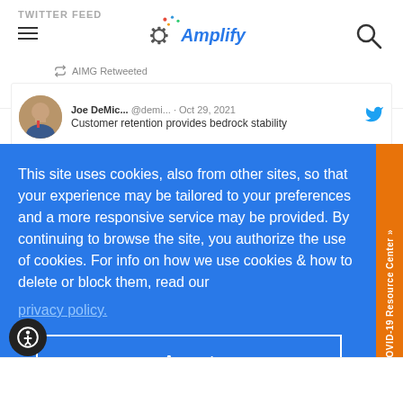TWITTER FEED
[Figure (logo): Amplify logo with gear icon and colorful dots]
AIMG Retweeted
Joe DeMic... @demi... · Oct 29, 2021
Customer retention provides bedrock stability
This site uses cookies, also from other sites, so that your experience may be tailored to your preferences and a more responsive service may be provided. By continuing to browse the site, you authorize the use of cookies. For info on how we use cookies & how to delete or block them, read our privacy policy.
Accept
COVID-19 Resource Center »